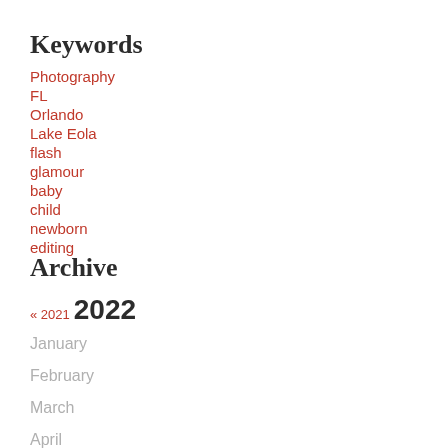Keywords
Photography
FL
Orlando
Lake Eola
flash
glamour
baby
child
newborn
editing
Archive
« 2021  2022
January
February
March
April
May